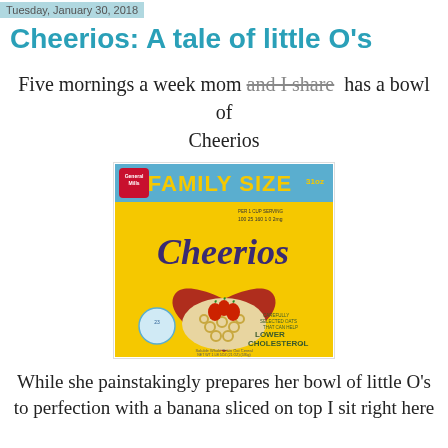Tuesday, January 30, 2018
Cheerios: A tale of little O's
Five mornings a week mom and I share has a bowl of Cheerios
[Figure (photo): Cheerios Family Size cereal box featuring the Cheerios brand name, a heart-shaped bowl filled with Cheerios and strawberries on a yellow background, with 'Lower Cholesterol' text and General Mills branding.]
While she painstakingly prepares her bowl of little O's to perfection with a banana sliced on top I sit right here